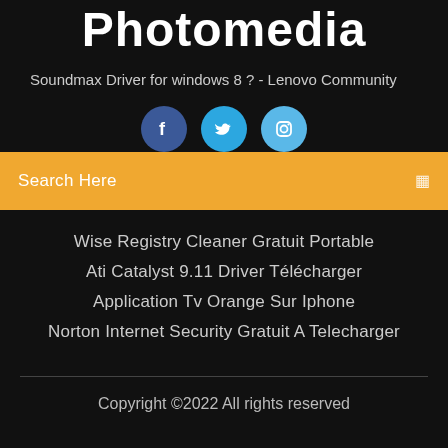Photomedia
Soundmax Driver for windows 8 ? - Lenovo Community
[Figure (illustration): Three social media icon circles: Facebook (dark blue), Twitter (medium blue), Instagram (light blue), partially visible at bottom]
Search Here
Wise Registry Cleaner Gratuit Portable
Ati Catalyst 9.11 Driver Télécharger
Application Tv Orange Sur Iphone
Norton Internet Security Gratuit A Telecharger
Copyright ©2022 All rights reserved